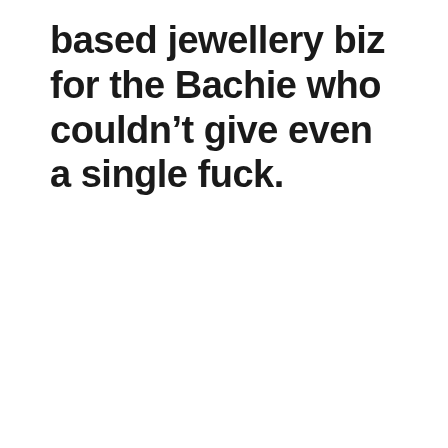based jewellery biz for the Bachie who couldn't give even a single fuck.